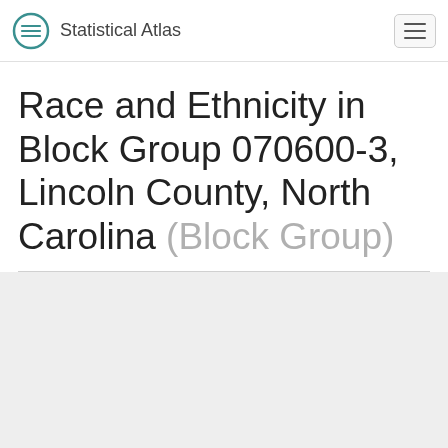Statistical Atlas
Race and Ethnicity in Block Group 070600-3, Lincoln County, North Carolina (Block Group)